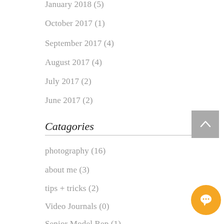January 2018 (5)
October 2017 (1)
September 2017 (4)
August 2017 (4)
July 2017 (2)
June 2017 (2)
Catagories
photography (16)
about me (3)
tips + tricks (2)
Video Journals (0)
Senior Model Rep (1)
Follow Us